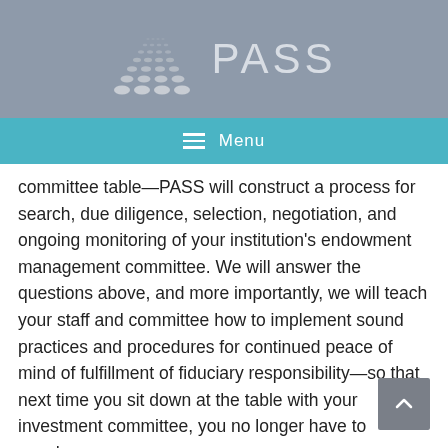[Figure (logo): PASS logo with path/dots graphic and 'PASS' text on grey banner]
Menu
committee table—PASS will construct a process for search, due diligence, selection, negotiation, and ongoing monitoring of your institution's endowment management committee. We will answer the questions above, and more importantly, we will teach your staff and committee how to implement sound practices and procedures for continued peace of mind of fulfillment of fiduciary responsibility—so that next time you sit down at the table with your investment committee, you no longer have to wonder.
COMMENTS